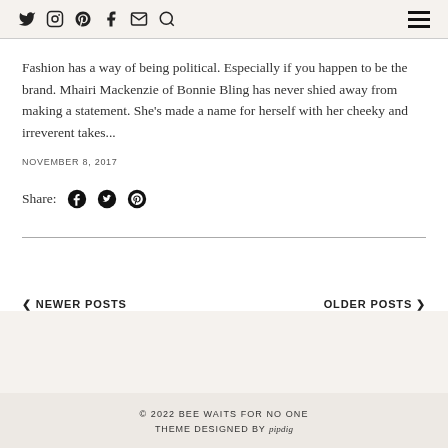Social icons: Twitter, Instagram, Pinterest, Facebook, Email, Search | Hamburger menu
Fashion has a way of being political.  Especially if you happen to be the brand. Mhairi Mackenzie of Bonnie Bling has never shied away from making a statement.  She's made a name for herself with her cheeky and irreverent takes...
NOVEMBER 8, 2017
Share: [Facebook] [Twitter] [Pinterest]
< NEWER POSTS
OLDER POSTS >
© 2022 BEE WAITS FOR NO ONE
THEME DESIGNED BY pipdig